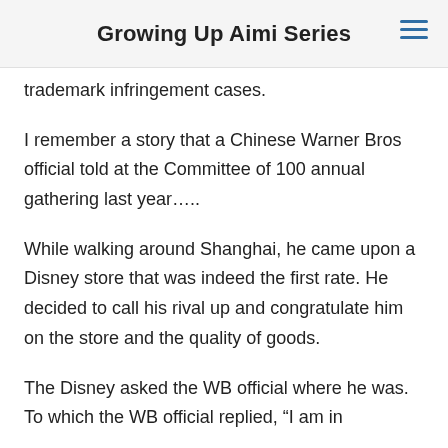Growing Up Aimi Series
trademark infringement cases.
I remember a story that a Chinese Warner Bros official told at the Committee of 100 annual gathering last year…..
While walking around Shanghai, he came upon a Disney store that was indeed the first rate. He decided to call his rival up and congratulate him on the store and the quality of goods.
The Disney asked the WB official where he was. To which the WB official replied, “I am in